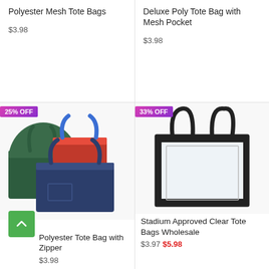Polyester Mesh Tote Bags
$3.98
[Figure (photo): Three polyester mesh tote bags in green, red, and navy colors]
Polyester Tote Bag with Zipper
$3.98
Deluxe Poly Tote Bag with Mesh Pocket
$3.98
[Figure (photo): Stadium approved clear tote bag with black handles and trim]
Stadium Approved Clear Tote Bags Wholesale
$3.97 $5.98